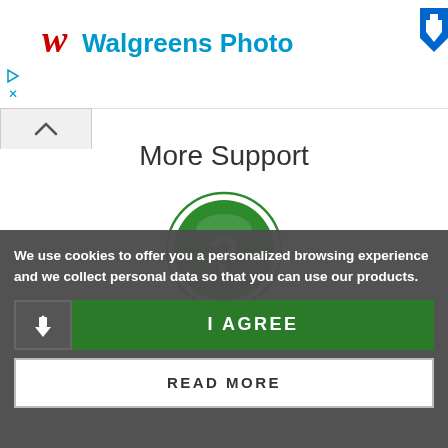[Figure (logo): Walgreens Photo logo with red cursive W and blue 'Walgreens Photo' text, and a blue download arrow icon on the right]
More Support
[Figure (illustration): Green circle with white question mark icon inside, with a thin green ring border]
FREQUENT QUESTIONS
We use cookies to offer you a personalized browsing experience and we collect personal data so that you can use our products.
I AGREE
READ MORE